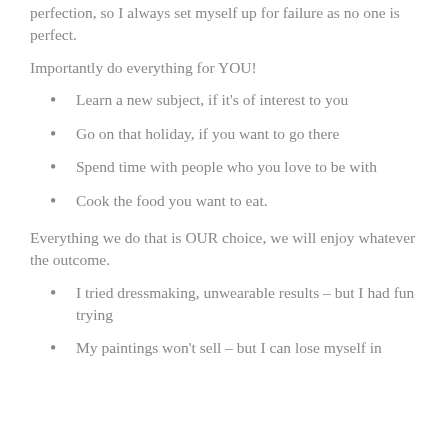perfection, so I always set myself up for failure as no one is perfect.
Importantly do everything for YOU!
Learn a new subject, if it's of interest to you
Go on that holiday, if you want to go there
Spend time with people who you love to be with
Cook the food you want to eat.
Everything we do that is OUR choice, we will enjoy whatever the outcome.
I tried dressmaking, unwearable results – but I had fun trying
My paintings won't sell – but I can lose myself in